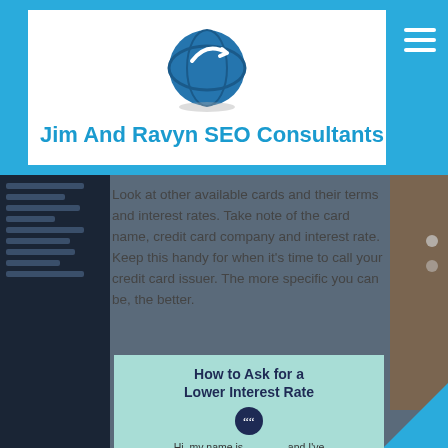Jim And Ravyn SEO Consultants
Look at other available cards and their terms and interest rates. Take note of the card name, credit card company and interest rate. Keep this handy for when it's time to call your credit card issuer. The more specific you can be, the better.
[Figure (infographic): Teal infographic box titled 'How to Ask for a Lower Interest Rate' with a dark circle quote icon and sample script text: 'Hi, my name is ___, and I've been a customer since ___. I've always made on-time payments, and I...']